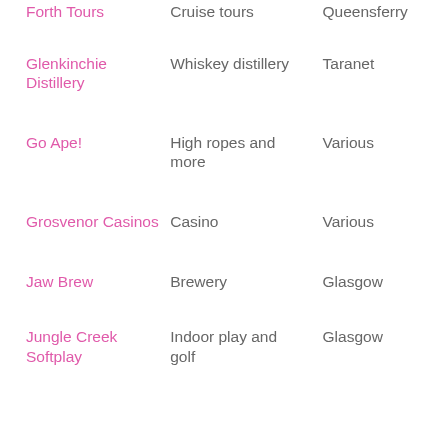| Name | Type | Location |
| --- | --- | --- |
| Forth Tours | Cruise tours | Queensferry |
| Glenkinchie Distillery | Whiskey distillery | Taranet |
| Go Ape! | High ropes and more | Various |
| Grosvenor Casinos | Casino | Various |
| Jaw Brew | Brewery | Glasgow |
| Jungle Creek Softplay | Indoor play and golf | Glasgow |